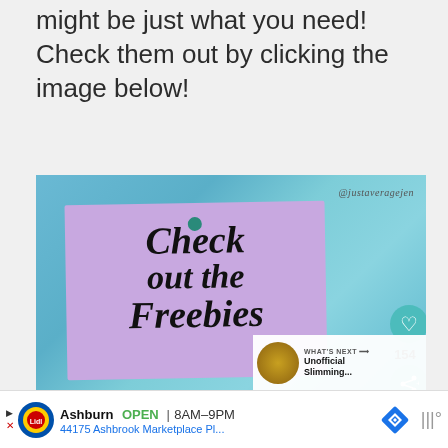might be just what you need! Check them out by clicking the image below!
[Figure (photo): A decorative image featuring a purple sticky note pinned with a teal thumbtack on a blue watercolor background. The note has cursive script reading 'Check out the Freebies'. The username '@justaveragejen' appears in the top right. Social interaction buttons (heart icon with count 154, share button) are on the right side. A 'WHAT'S NEXT' overlay shows a thumbnail for 'Unofficial Slimming...']
[Figure (screenshot): Advertisement bar showing Lidl store in Ashburn, OPEN 8AM-9PM, 44175 Ashbrook Marketplace Pl...]